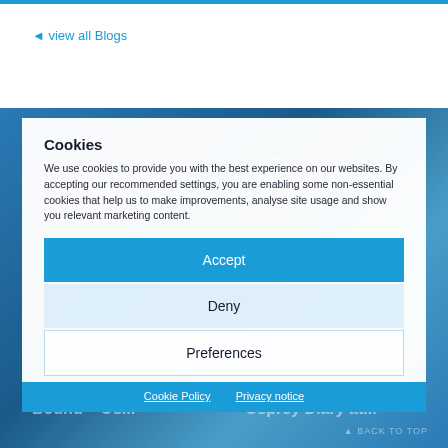◄ view all Blogs
Cookies
We use cookies to provide you with the best experience on our websites. By accepting our recommended settings, you are enabling some non-essential cookies that help us to make improvements, analyse site usage and show you relevant marketing content.
Accept
Deny
Preferences
Cookie Policy   Privacy notice
Homeward Bound – Os...
Osprey Diary at...
▲ BACK TO TOP